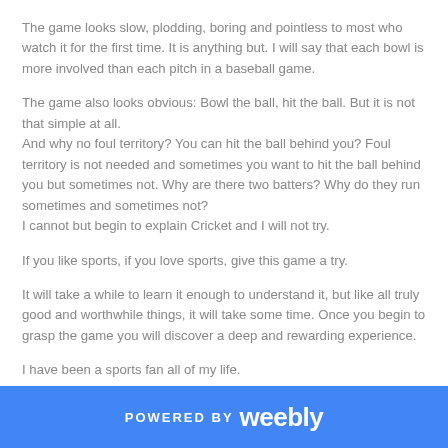The game looks slow, plodding, boring and pointless to most who watch it for the first time. It is anything but. I will say that each bowl is more involved than each pitch in a baseball game.
The game also looks obvious: Bowl the ball, hit the ball. But it is not that simple at all.
And why no foul territory? You can hit the ball behind you? Foul territory is not needed and sometimes you want to hit the ball behind you but sometimes not. Why are there two batters? Why do they run sometimes and sometimes not?
I cannot but begin to explain Cricket and I will not try.
If you like sports, if you love sports, give this game a try.
It will take a while to learn it enough to understand it, but like all truly good and worthwhile things, it will take some time. Once you begin to grasp the game you will discover a deep and rewarding experience.
I have been a sports fan all of my life.
POWERED BY weebly